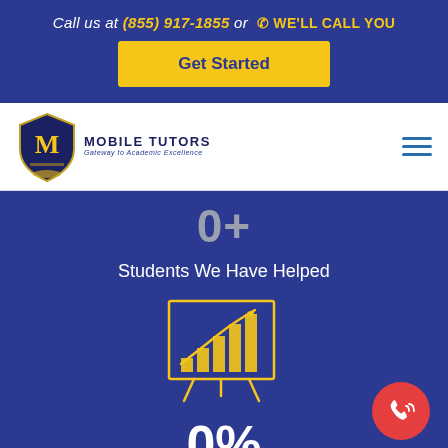Call us at (855) 917-1855 or WE'LL CALL YOU
Get Started
[Figure (logo): Mobile Tutors shield logo with letter M and tagline 'Gateway to Academic Excellence']
0+
Students We Have Helped
[Figure (illustration): Yellow line icon of a bar chart with upward trend arrow on a presentation board with legs]
0%